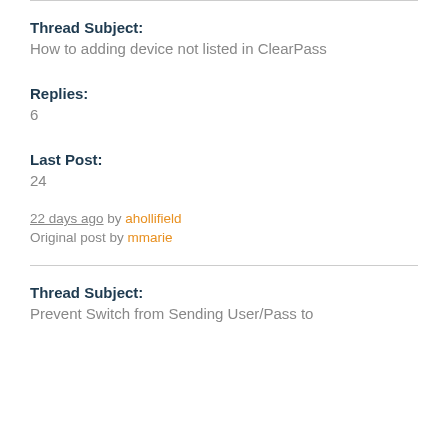Thread Subject:
How to adding device not listed in ClearPass
Replies:
6
Last Post:
24
22 days ago by ahollifield
Original post by mmarie
Thread Subject:
Prevent Switch from Sending User/Pass to